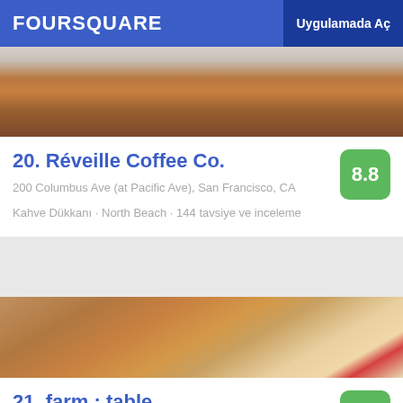FOURSQUARE | Uygulamada Aç
[Figure (photo): Close-up photo of a bowl of coffee/soup from above on a marble surface]
20. Réveille Coffee Co.
200 Columbus Ave (at Pacific Ave), San Francisco, CA
Kahve Dükkanı · North Beach · 144 tavsiye ve inceleme
[Figure (photo): Photo of a breakfast sandwich with biscuit, poached egg, bacon, greens, served with strawberries and whipped cream on a white plate]
21. farm : table